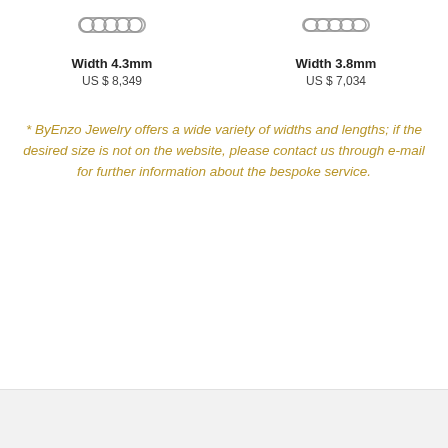[Figure (photo): Close-up photo of a silver chain jewelry piece, width 4.3mm]
Width 4.3mm
US $ 8,349
[Figure (photo): Close-up photo of a silver chain jewelry piece, width 3.8mm]
Width 3.8mm
US $ 7,034
* ByEnzo Jewelry offers a wide variety of widths and lengths; if the desired size is not on the website, please contact us through e-mail for further information about the bespoke service.